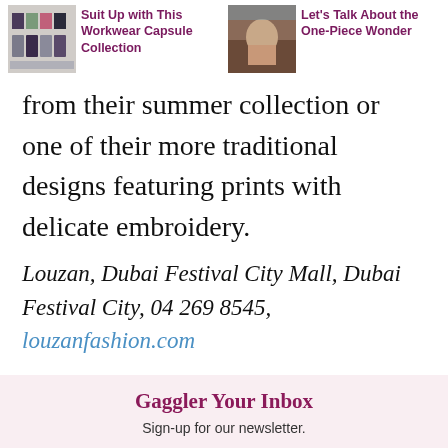Suit Up with This Workwear Capsule Collection
Let's Talk About the One-Piece Wonder
from their summer collection or one of their more traditional designs featuring prints with delicate embroidery.
Louzan, Dubai Festival City Mall, Dubai Festival City, 04 269 8545, louzanfashion.com
Gaggler Your Inbox
Sign-up for our newsletter.
First Name
Email